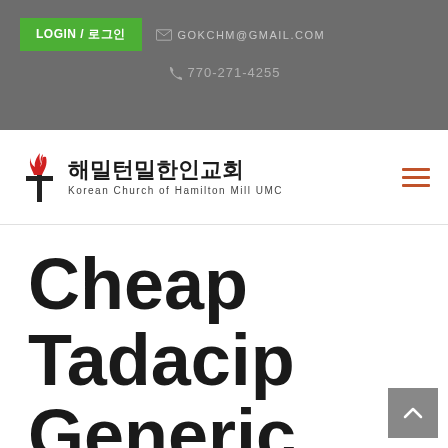LOGIN / 로그인   GOKCHM@GMAIL.COM   770-271-4255
[Figure (logo): Korean Church of Hamilton Mill UMC logo with Korean text 해밀턴밀한인교회 and UMC flame symbol]
Cheap Tadacip Generic.